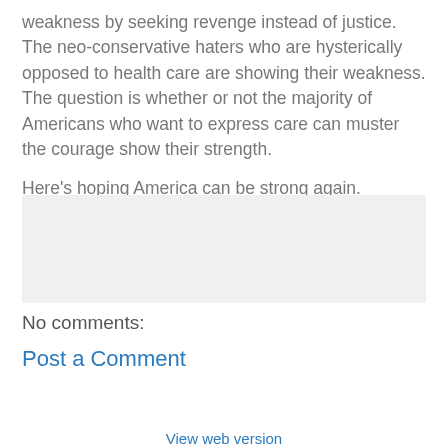weakness by seeking revenge instead of justice. The neo-conservative haters who are hysterically opposed to health care are showing their weakness. The question is whether or not the majority of Americans who want to express care can muster the courage show their strength.

Here's hoping America can be strong again.
[Figure (other): Gray empty comment input box area]
No comments:
Post a Comment
[Figure (other): Navigation buttons: left arrow, Home, right arrow]
View web version
Powered by Blogger.